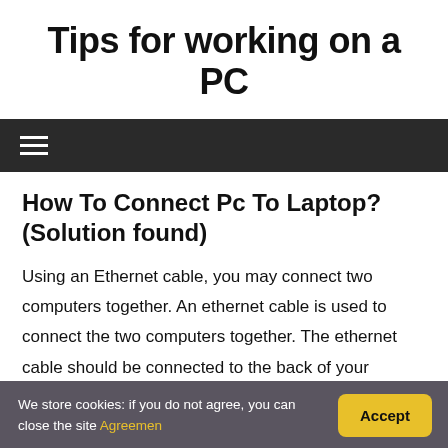Tips for working on a PC
[Figure (other): Dark navigation bar with hamburger menu icon (three horizontal white lines)]
How To Connect Pc To Laptop? (Solution found)
Using an Ethernet cable, you may connect two computers together. An ethernet cable is used to connect the two computers together. The ethernet cable should be connected to the back of your desktop PC by one end,
We store cookies: if you do not agree, you can close the site Agreemen
Accept